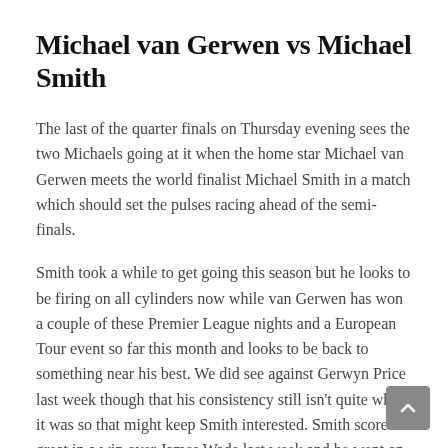Michael van Gerwen vs Michael Smith
The last of the quarter finals on Thursday evening sees the two Michaels going at it when the home star Michael van Gerwen meets the world finalist Michael Smith in a match which should set the pulses racing ahead of the semi-finals.
Smith took a while to get going this season but he looks to be firing on all cylinders now while van Gerwen has won a couple of these Premier League nights and a European Tour event so far this month and looks to be back to something near his best. We did see against Gerwyn Price last week though that his consistency still isn't quite what it was so that might keep Smith interested. Smith scored great in a win over James Wade last week and he went on to make the final before going down to Gary Anderson. There are definitely signs that Smith is knocking on the door of winning one of these things but he's going to have the crowd right against him here. That probably away...